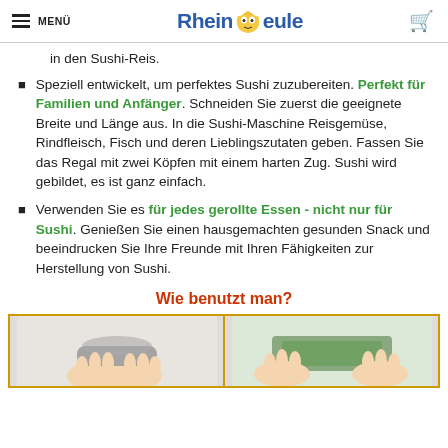MENÜ | Rhein Eule
in den Sushi-Reis.
Speziell entwickelt, um perfektes Sushi zuzubereiten. Perfekt für Familien und Anfänger. Schneiden Sie zuerst die geeignete Breite und Länge aus. In die Sushi-Maschine Reisgemüse, Rindfleisch, Fisch und deren Lieblingszutaten geben. Fassen Sie das Regal mit zwei Köpfen mit einem harten Zug. Sushi wird gebildet, es ist ganz einfach.
Verwenden Sie es für jedes gerollte Essen - nicht nur für Sushi. Genießen Sie einen hausgemachten gesunden Snack und beeindrucken Sie Ihre Freunde mit Ihren Fähigkeiten zur Herstellung von Sushi.
Wie benutzt man?
[Figure (photo): Two side-by-side photos showing hands using a sushi rolling machine/tool]